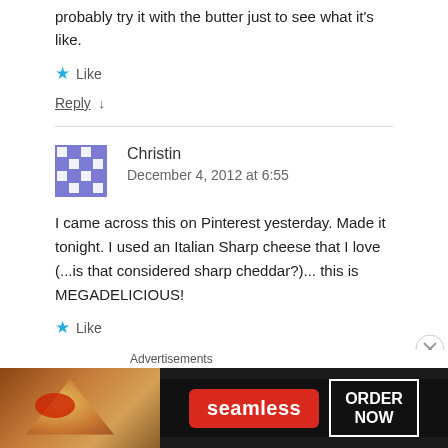probably try it with the butter just to see what it's like.
★ Like
Reply ↓
Christin
December 4, 2012 at 6:55
I came across this on Pinterest yesterday. Made it tonight. I used an Italian Sharp cheese that I love (...is that considered sharp cheddar?)... this is MEGADELICIOUS!
★ Like
[Figure (screenshot): Seamless advertisement banner with pizza image, Seamless logo in red, and ORDER NOW button]